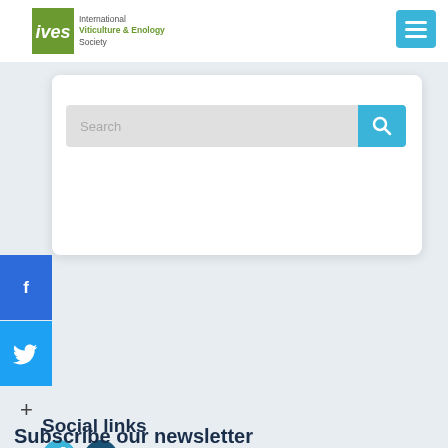[Figure (logo): IVES - International Viticulture & Enology Society logo with green box and text]
[Figure (screenshot): Hamburger menu button (three horizontal lines) in blue]
[Figure (screenshot): Search bar with input field and blue search button]
[Figure (screenshot): Facebook social share button on left sidebar (blue)]
[Figure (screenshot): Twitter social share button on left sidebar (light blue)]
+
Social links
[Figure (screenshot): Twitter icon circle (light blue) and LinkedIn icon circle (dark blue)]
Subscribe our newsletter